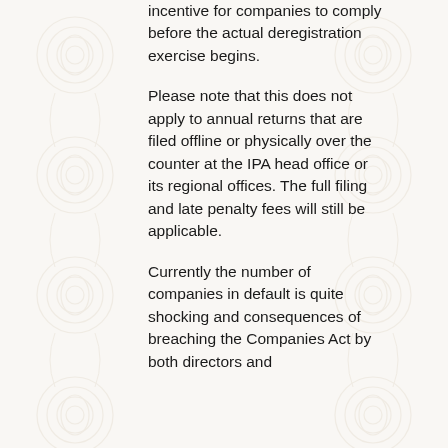incentive for companies to comply before the actual deregistration exercise begins.
Please note that this does not apply to annual returns that are filed offline or physically over the counter at the IPA head office or its regional offices. The full filing and late penalty fees will still be applicable.
Currently the number of companies in default is quite shocking and consequences of breaching the Companies Act by both directors and